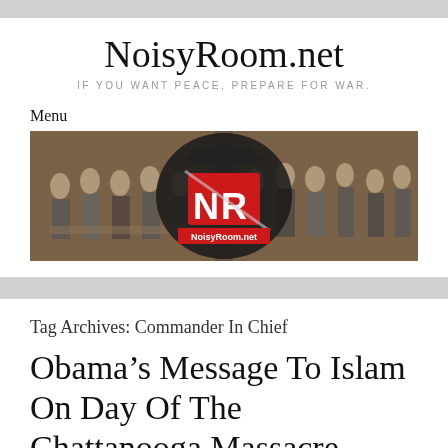NoisyRoom.net
IF YOU WANT PEACE, PREPARE FOR WAR.
Menu
[Figure (illustration): NoisyRoom.net banner image showing historical paintings of founding fathers on left and right sides, with the NoisyRoom.net logo (NR in red with a hat) in the center.]
Tag Archives: Commander In Chief
Obama’s Message To Islam On Day Of The Chattanooga Massacre